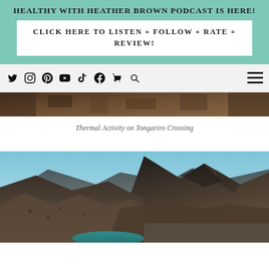HEALTHY WITH HEATHER BROWN PODCAST IS HERE!
CLICK HERE TO LISTEN + FOLLOW + RATE + REVIEW!
[Figure (screenshot): Navigation bar with social media icons: Twitter, Instagram, Pinterest, YouTube, TikTok, Facebook, shopping cart, search, and hamburger menu]
[Figure (photo): Aerial view of thermal volcanic landscape on the Tongariro Crossing, showing dark brown rocky terrain at the top portion of the image]
Thermal Activity on Tongariro Crossing
[Figure (photo): Mountain landscape on the Tongariro Crossing showing rugged volcanic peaks with a turquoise lake visible at the bottom, under a blue sky]